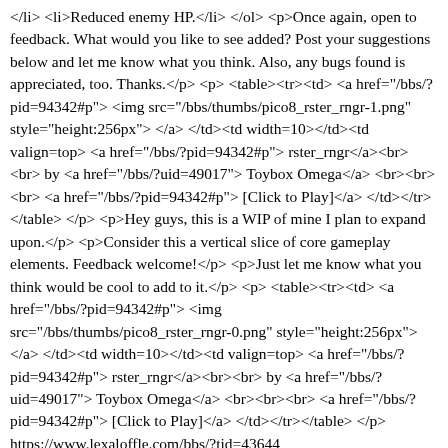</li> <li>Reduced enemy HP.</li> </ol> <p>Once again, open to feedback. What would you like to see added? Post your suggestions below and let me know what you think. Also, any bugs found is appreciated, too. Thanks.</p> <p> <table><tr><td> <a href="/bbs/?pid=94342#p"> <img src="/bbs/thumbs/pico8_rster_rngr-1.png" style="height:256px"> </a> </td><td width=10></td><td valign=top> <a href="/bbs/?pid=94342#p"> rster_rngr</a><br><br> by <a href="/bbs/?uid=49017"> Toybox Omega</a> <br><br><br> <a href="/bbs/?pid=94342#p"> [Click to Play]</a> </td></tr></table> </p> <p>Hey guys, this is a WIP of mine I plan to expand upon.</p> <p>Consider this a vertical slice of core gameplay elements. Feedback welcome!</p> <p>Just let me know what you think would be cool to add to it.</p> <p> <table><tr><td> <a href="/bbs/?pid=94342#p"> <img src="/bbs/thumbs/pico8_rster_rngr-0.png" style="height:256px"> </a> </td><td width=10></td><td valign=top> <a href="/bbs/?pid=94342#p"> rster_rngr</a><br><br> by <a href="/bbs/?uid=49017"> Toybox Omega</a> <br><br><br> <a href="/bbs/?pid=94342#p"> [Click to Play]</a> </td></tr></table> </p> https://www.lexaloffle.com/bbs/?tid=43644 https://www.lexaloffle.com/bbs/?tid=43644 Fri, 02 Jul 2021 15:35:57 UTC <p> <table><tr><td> <a href="/bbs/?pid=93456#p"> <img src="/bbs/thumbs/pico8_bnko_bsh1-0.png" style="height:256px"></a> </td><td width=10></td><td